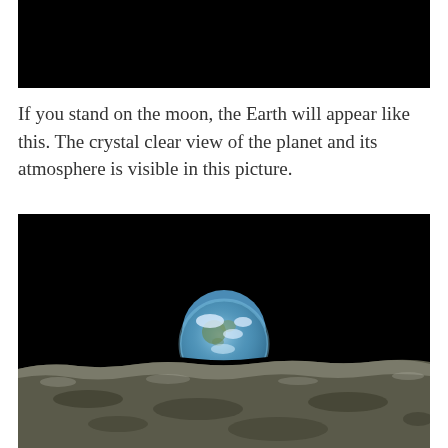[Figure (photo): Black rectangular image at top of page, appears to be a cropped space/night sky photo with no visible detail — solid black.]
If you stand on the moon, the Earth will appear like this. The crystal clear view of the planet and its atmosphere is visible in this picture.
[Figure (photo): Famous 'Earthrise' photograph taken from the Moon's surface. The Earth is visible as a half-illuminated globe rising above the barren, rocky, grey lunar surface. The Earth shows blue oceans and white clouds. The background is deep black space. The lunar surface fills the bottom third of the image with grey rocky terrain.]